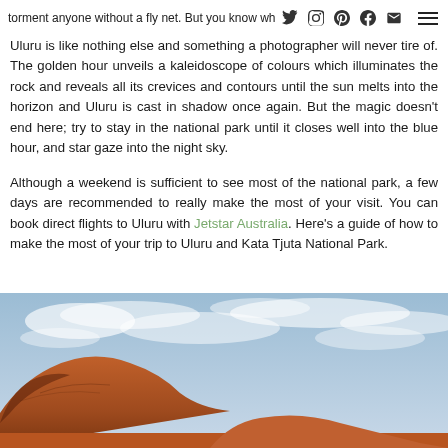torment anyone without a fly net. But you know what? I don't care in the slightest…  Despite the soaring heat, experiencing a sunrise at Uluru [social icons + menu]
Uluru is like nothing else and something a photographer will never tire of. The golden hour unveils a kaleidoscope of colours which illuminates the rock and reveals all its crevices and contours until the sun melts into the horizon and Uluru is cast in shadow once again. But the magic doesn't end here; try to stay in the national park until it closes well into the blue hour, and star gaze into the night sky.
Although a weekend is sufficient to see most of the national park, a few days are recommended to really make the most of your visit. You can book direct flights to Uluru with Jetstar Australia. Here's a guide of how to make the most of your trip to Uluru and Kata Tjuta National Park.
[Figure (photo): Aerial or ground-level photo of Uluru (red rock) under a dramatic blue sky with scattered clouds]